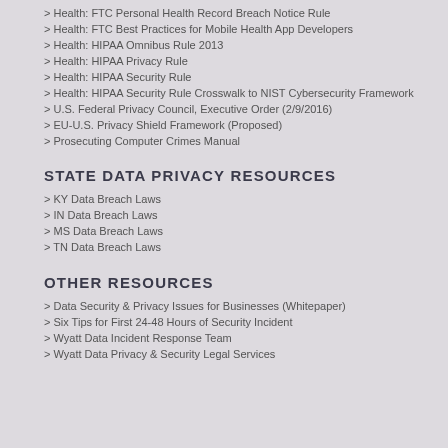> Health: FTC Personal Health Record Breach Notice Rule
> Health: FTC Best Practices for Mobile Health App Developers
> Health: HIPAA Omnibus Rule 2013
> Health: HIPAA Privacy Rule
> Health: HIPAA Security Rule
> Health: HIPAA Security Rule Crosswalk to NIST Cybersecurity Framework
> U.S. Federal Privacy Council, Executive Order (2/9/2016)
> EU-U.S. Privacy Shield Framework (Proposed)
> Prosecuting Computer Crimes Manual
STATE DATA PRIVACY RESOURCES
> KY Data Breach Laws
> IN Data Breach Laws
> MS Data Breach Laws
> TN Data Breach Laws
OTHER RESOURCES
> Data Security & Privacy Issues for Businesses (Whitepaper)
> Six Tips for First 24-48 Hours of Security Incident
> Wyatt Data Incident Response Team
> Wyatt Data Privacy & Security Legal Services